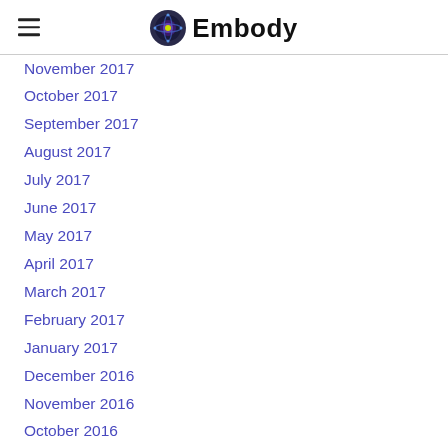Embody
November 2017
October 2017
September 2017
August 2017
July 2017
June 2017
May 2017
April 2017
March 2017
February 2017
January 2017
December 2016
November 2016
October 2016
September 2016
August 2016
July 2016